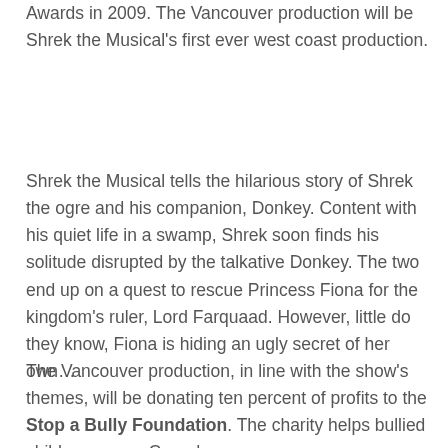Awards in 2009. The Vancouver production will be Shrek the Musical's first ever west coast production.
Shrek the Musical tells the hilarious story of Shrek the ogre and his companion, Donkey. Content with his quiet life in a swamp, Shrek soon finds his solitude disrupted by the talkative Donkey. The two end up on a quest to rescue Princess Fiona for the kingdom's ruler, Lord Farquaad. However, little do they know, Fiona is hiding an ugly secret of her own…
The Vancouver production, in line with the show's themes, will be donating ten percent of profits to the Stop a Bully Foundation. The charity helps bullied children across Canada